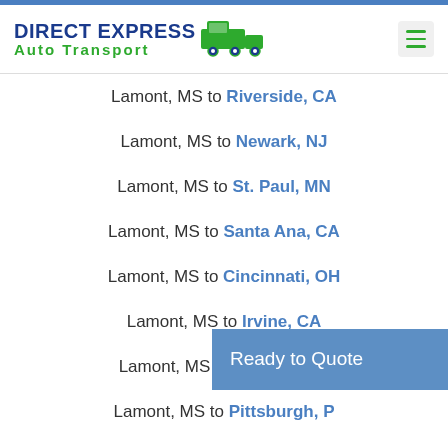Direct Express Auto Transport
Lamont, MS to Riverside, CA
Lamont, MS to Newark, NJ
Lamont, MS to St. Paul, MN
Lamont, MS to Santa Ana, CA
Lamont, MS to Cincinnati, OH
Lamont, MS to Irvine, CA
Lamont, MS to Orlando, FL
Lamont, MS to Pittsburgh, PA
Lamont, MS to Greensboro, NC
Ready to Quote